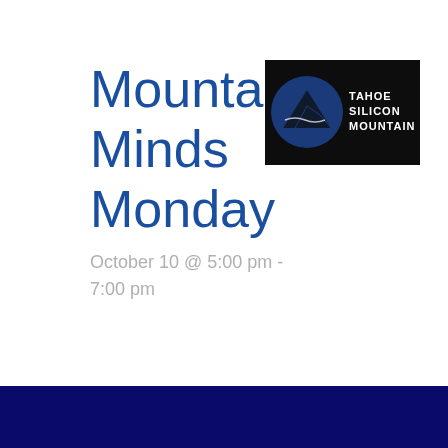Mountain Minds Monday
October 10 @ 5:00 pm - 7:00 pm
[Figure (logo): Tahoe Silicon Mountain logo: black rectangle background with a dark blue circle containing a mountain/wave silhouette, and white text reading TAHOE SILICON MOUNTAIN]